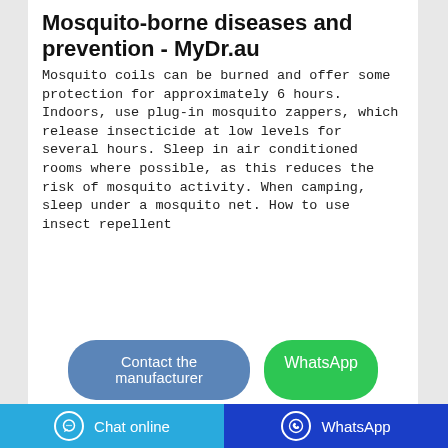Mosquito-borne diseases and prevention - MyDr.au
Mosquito coils can be burned and offer some protection for approximately 6 hours. Indoors, use plug-in mosquito zappers, which release insecticide at low levels for several hours. Sleep in air conditioned rooms where possible, as this reduces the risk of mosquito activity. When camping, sleep under a mosquito net. How to use insect repellent
[Figure (screenshot): Two buttons: 'Contact the manufacturer' (blue/teal rounded button) and 'WhatsApp' (green rounded button)]
[Figure (photo): Dark blue-toned photo, likely showing a mosquito coil or candle object in focus against a dark background]
Chat online    WhatsApp